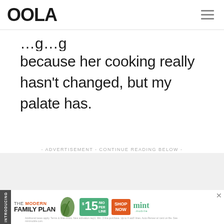OOLA
because her cooking really hasn't changed, but my palate has.
- ADVERTISEMENT - CONTINUE READING BELOW -
[Figure (infographic): Mint Mobile advertisement banner: THE MODERN FAMILY PLAN $15/MO PER LINE SHOP NOW mint mobile]